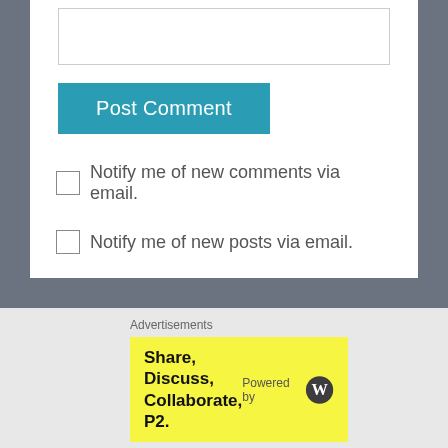[Figure (screenshot): Text area input box (empty)]
Post Comment
Notify me of new comments via email.
Notify me of new posts via email.
Search …
Advertisements
Share, Discuss, Collaborate, P2.
Powered by